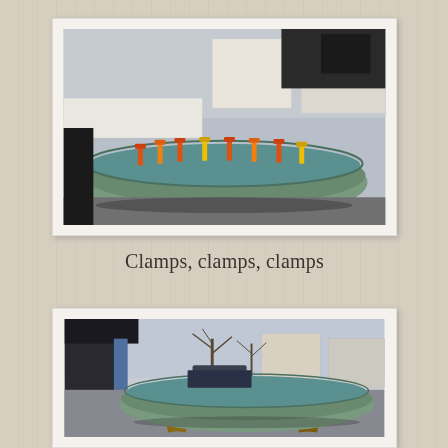[Figure (photo): A green canoe or boat on a wooden sawbuck stand in a driveway or parking area. Multiple orange and yellow clamps are attached along the top rim of the boat. A dark vehicle or machinery is behind the boat. Snow is visible in the background near some buildings.]
Clamps, clamps, clamps
[Figure (photo): A green canoe resting on a wooden stand outdoors, viewed from the side. Bare winter trees and residential buildings are visible in the background. The canoe interior appears teal/green colored.]